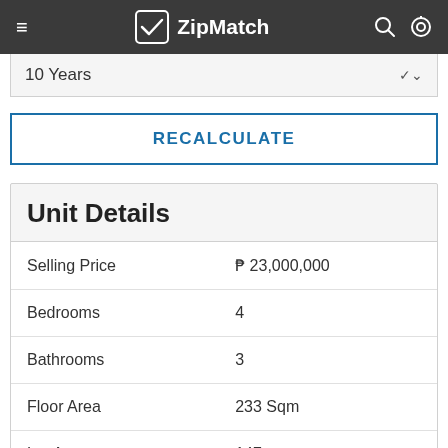ZipMatch
10 Years
RECALCULATE
Unit Details
| Property | Value |
| --- | --- |
| Selling Price | ₱ 23,000,000 |
| Bedrooms | 4 |
| Bathrooms | 3 |
| Floor Area | 233 Sqm |
| Lot Area | 147 |